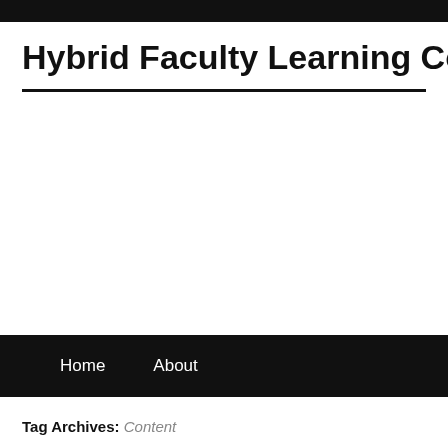Hybrid Faculty Learning Comm…
Home   About
Tag Archives: Content
How to Combine the Technical with the In…